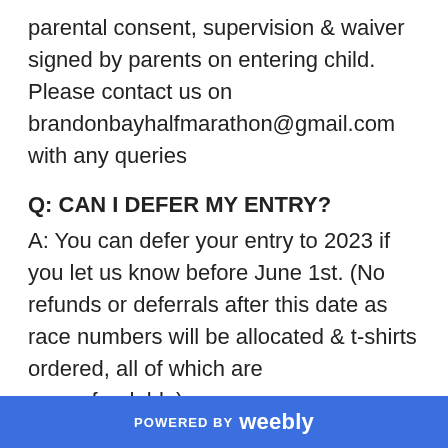parental consent, supervision & waiver signed by parents on entering child. Please contact us on brandonbayhalfmarathon@gmail.com with any queries
Q: CAN I DEFER MY ENTRY?
A: You can defer your entry to 2023 if you let us know before June 1st. (No refunds or deferrals after this date as race numbers will be allocated & t-shirts ordered, all of which are non-refundable)
Q: CAN I CANCEL MY ENTRY?
POWERED BY weebly